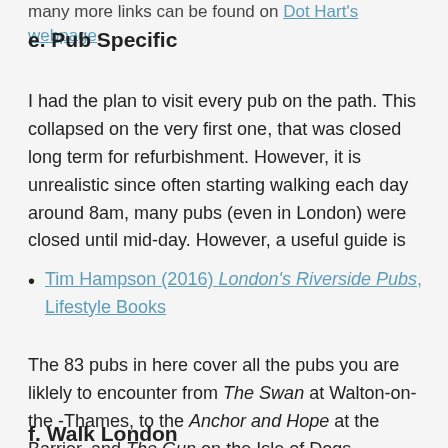many more links can be found on Dot Hart's webpage.
e. Pub Specific
I had the plan to visit every pub on the path. This collapsed on the very first one, that was closed long term for refurbishment. However, it is unrealistic since often starting walking each day around 8am, many pubs (even in London) were closed until mid-day. However, a useful guide is
Tim Hampson (2016) London's Riverside Pubs, Lifestyle Books
The 83 pubs in here cover all the pubs you are liklely to encounter from The Swan at Walton-on-the -Thames, to the Anchor and Hope at the Barrier, and The Gun on the Isle of Dogs.
f. Walk London